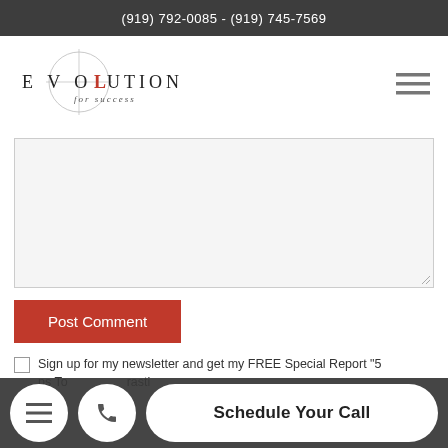(919) 792-0085 - (919) 745-7569
[Figure (logo): Evolution for success logo with circular crosshair graphic and stylized text]
[Figure (other): Hamburger menu icon (three horizontal lines)]
[Figure (other): Large textarea comment input box with resize handle]
Post Comment
Sign up for my newsletter and get my FREE Special Report "5 Steps To ... rasti...
Schedule Your Call